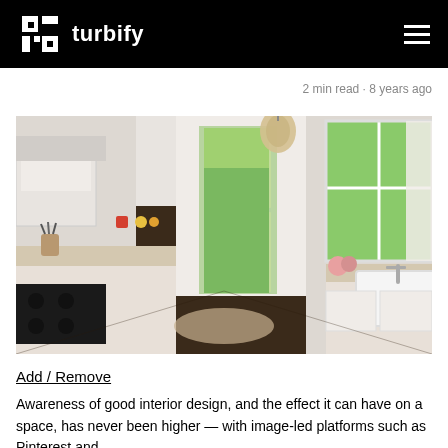turbify
2 min read · 8 years ago
[Figure (photo): Bright modern white kitchen with dark hardwood floors, open door to garden, white cabinetry, farmhouse sink, and decorative Moroccan pendant lamp. Natural light from large windows.]
Add / Remove
Awareness of good interior design, and the effect it can have on a space, has never been higher — with image-led platforms such as Pinterest and